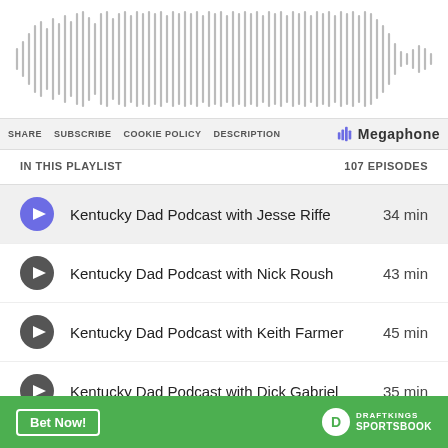[Figure (other): Audio waveform visualization showing podcast audio bars]
SHARE  SUBSCRIBE  COOKIE POLICY  DESCRIPTION  Megaphone
IN THIS PLAYLIST  107 EPISODES
Kentucky Dad Podcast with Jesse Riffe  34 min
Kentucky Dad Podcast with Nick Roush  43 min
Kentucky Dad Podcast with Keith Farmer  45 min
Kentucky Dad Podcast with Dick Gabriel  35 min
Kentucky Dad Podcast with Terry Brown  33 min
[Figure (other): DraftKings Sportsbook banner advertisement with Bet Now button]